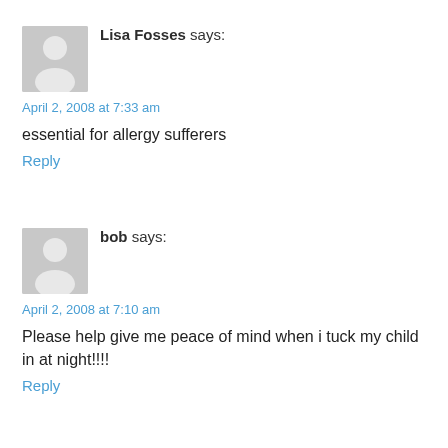[Figure (illustration): Generic user avatar placeholder - grey square with white silhouette of a person]
Lisa Fosses says:
April 2, 2008 at 7:33 am
essential for allergy sufferers
Reply
[Figure (illustration): Generic user avatar placeholder - grey square with white silhouette of a person]
bob says:
April 2, 2008 at 7:10 am
Please help give me peace of mind when i tuck my child in at night!!!!
Reply